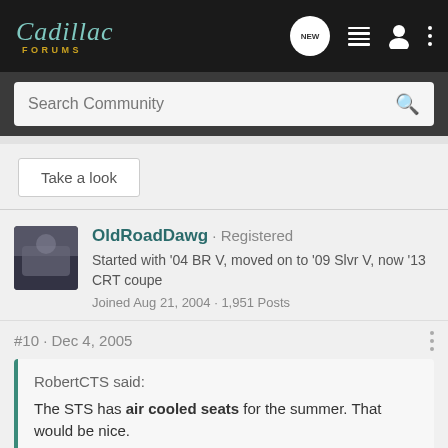Cadillac Forums
Search Community
Take a look
OldRoadDawg · Registered
Started with '04 BR V, moved on to '09 Slvr V, now '13 CRT coupe
Joined Aug 21, 2004 · 1,951 Posts
#10 · Dec 4, 2005
RobertCTS said:
The STS has air cooled seats for the summer. That would be nice. 😀